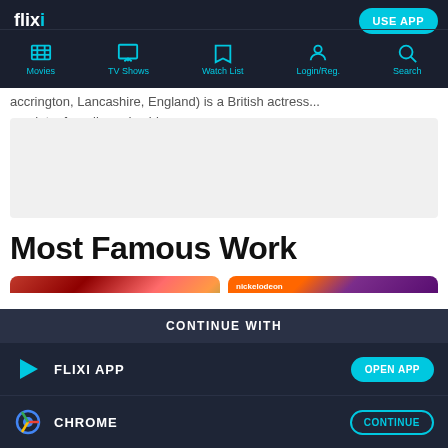flixi - USE APP - Movies, TV Shows, Watch List, Login/Reg., Search
...born 10 September 1969 at Church Road, Accrington, Lancashire, England) is a British actress... ...point... from ll... pads... ...bbu... on 210p...
[Figure (other): Gray placeholder advertisement box]
Most Famous Work
[Figure (other): Two movie thumbnail cards with play buttons - left card shows colorful abstract, right card shows Nickelodeon branding on purple background]
CONTINUE WITH
FLIXI APP - OPEN APP
CHROME - CONTINUE